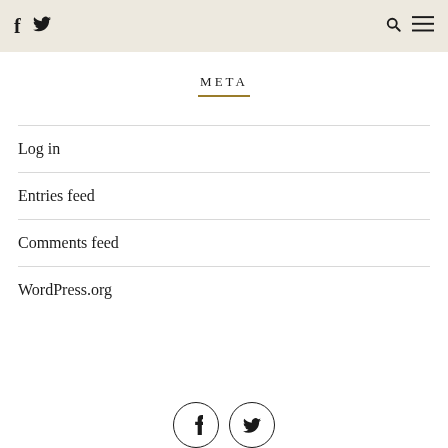f [twitter] [search] [menu]
META
Log in
Entries feed
Comments feed
WordPress.org
[Figure (other): Footer social icons: Facebook circle icon and Twitter circle icon]